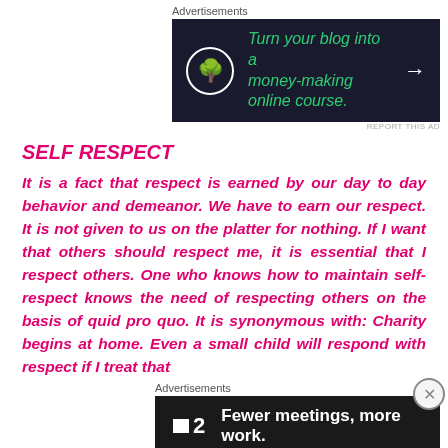Advertisements
[Figure (other): Advertisement banner with dark background showing a bonsai tree icon in a circle and italic green text: 'Turn your blog into a money-making online course.' with a white arrow]
REPORT THIS AD
SELF RESPECT
It is a fact that respect is earned by our day to day behavior and demeanor. We have to earn our respect. It is not given to us on the platter for nothing. If I want that others should respect me, it is essential that I respect others. One who knows how to maintain self-respect knows the need of respecting others on the basis of quid pro quo. It is synonymous with: Charity begins at home. Even a small child will respond with respect if I treat that
Advertisements
[Figure (other): Advertisement banner with dark/black background showing logo '2' with a square icon and bold white text: 'Fewer meetings, more work.']
REPORT THIS AD